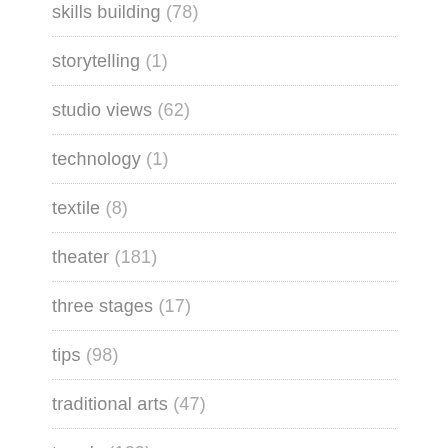skills building (78)
storytelling (1)
studio views (62)
technology (1)
textile (8)
theater (181)
three stages (17)
tips (98)
traditional arts (47)
trends (122)
useful links (108)
video (15)